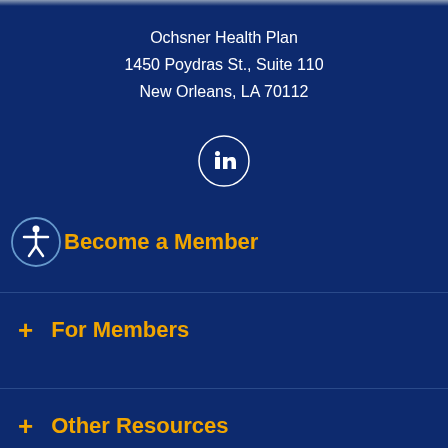Ochsner Health Plan
1450 Poydras St., Suite 110
New Orleans, LA 70112
[Figure (logo): LinkedIn logo inside a circle outline]
Become a Member
+ For Members
+ Other Resources